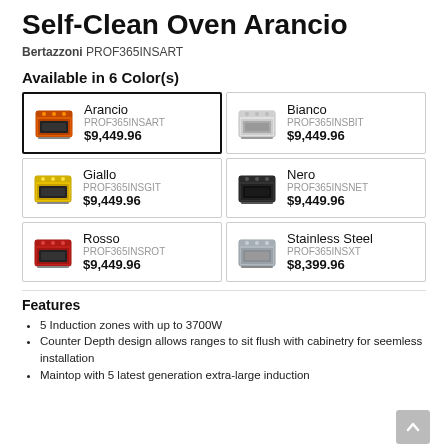Self-Clean Oven Arancio
Bertazzoni PROF365INSART
Available in 6 Color(s)
| Image | Name | SKU | Price |
| --- | --- | --- | --- |
| [oven-orange] | Arancio | PROF365INSART | $9,449.96 |
| [oven-white] | Bianco | PROF365INSBIT | $9,449.96 |
| [oven-yellow] | Giallo | PROF365INSGIT | $9,449.96 |
| [oven-black] | Nero | PROF365INSNET | $9,449.96 |
| [oven-red] | Rosso | PROF365INSROT | $9,449.96 |
| [oven-steel] | Stainless Steel | PROF365INSXT | $8,399.96 |
Features
5 Induction zones with up to 3700W
Counter Depth design allows ranges to sit flush with cabinetry for seemless installation
Maintop with 5 latest generation extra-large induction